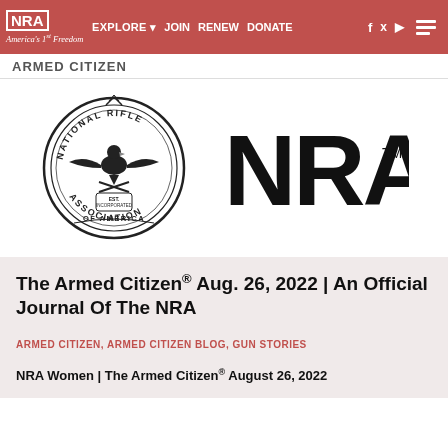NRA EXPLORE ▼  JOIN  RENEW  DONATE  f  🐦  ▶  ≡
ARMED CITIZEN
[Figure (logo): NRA National Rifle Association seal/medallion logo on the left and large bold NRA wordmark with TM on the right]
The Armed Citizen® Aug. 26, 2022 | An Official Journal Of The NRA
ARMED CITIZEN, ARMED CITIZEN BLOG, GUN STORIES
NRA Women | The Armed Citizen® August 26, 2022